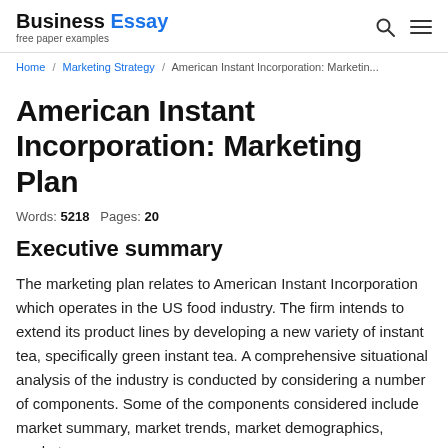Business Essay free paper examples
Home / Marketing Strategy / American Instant Incorporation: Marketin...
American Instant Incorporation: Marketing Plan
Words: 5218   Pages: 20
Executive summary
The marketing plan relates to American Instant Incorporation which operates in the US food industry. The firm intends to extend its product lines by developing a new variety of instant tea, specifically green instant tea. A comprehensive situational analysis of the industry is conducted by considering a number of components. Some of the components considered include market summary, market trends, market demographics, market